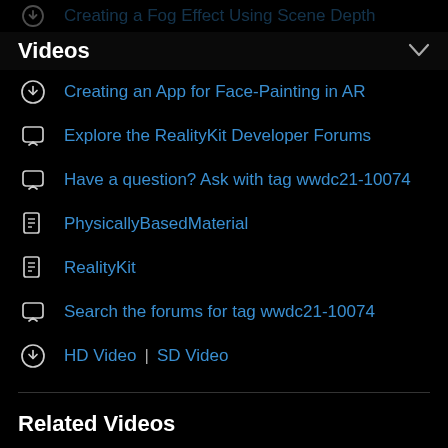Creating a Fog Effect Using Scene Depth (faded)
Videos
Creating an App for Face-Painting in AR
Explore the RealityKit Developer Forums
Have a question? Ask with tag wwdc21-10074
PhysicallyBasedMaterial
RealityKit
Search the forums for tag wwdc21-10074
HD Video | SD Video
Related Videos
WWDC22
Bring your world into augmented reality (faded)